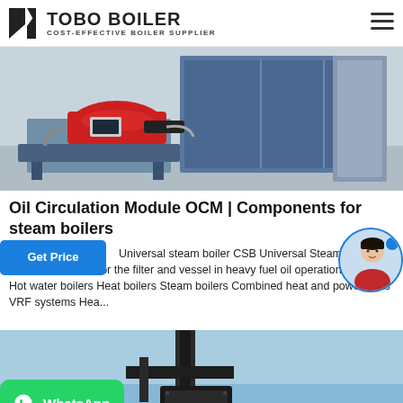TOBO BOILER — COST-EFFECTIVE BOILER SUPPLIER
[Figure (photo): Industrial boiler equipment photo showing a red burner/heater component on the left and a large blue metal cabinet/module on the right, in a factory setting.]
Oil Circulation Module OCM | Components for steam boilers
Universal steam boiler CSB Universal Steam Boiler includes a heater for the filter and vessel in heavy fuel oil operation. Products Hot water boilers Heat boilers Steam boilers Combined heat and power units VRF systems Hea...
[Figure (photo): Partial bottom photo showing industrial boiler/chimney equipment against a blue sky, cut off at the bottom of the page.]